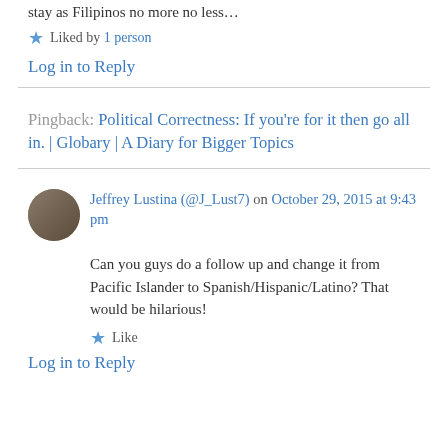stay as Filipinos no more no less…
★ Liked by 1 person
Log in to Reply
Pingback: Political Correctness: If you're for it then go all in. | Globary | A Diary for Bigger Topics
Jeffrey Lustina (@J_Lust7) on October 29, 2015 at 9:43 pm
Can you guys do a follow up and change it from Pacific Islander to Spanish/Hispanic/Latino? That would be hilarious!
★ Like
Log in to Reply